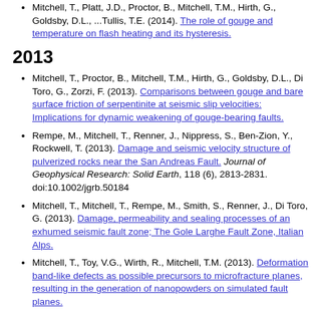Mitchell, T., Platt, J.D., Proctor, B., Mitchell, T.M., Hirth, G., Goldsby, D.L., ...Tullis, T.E. (2014). The role of gouge and temperature on flash heating and its hysteresis.
2013
Mitchell, T., Proctor, B., Mitchell, T.M., Hirth, G., Goldsby, D.L., Di Toro, G., Zorzi, F. (2013). Comparisons between gouge and bare surface friction of serpentinite at seismic slip velocities: Implications for dynamic weakening of gouge-bearing faults.
Rempe, M., Mitchell, T., Renner, J., Nippress, S., Ben-Zion, Y., Rockwell, T. (2013). Damage and seismic velocity structure of pulverized rocks near the San Andreas Fault. Journal of Geophysical Research: Solid Earth, 118 (6), 2813-2831. doi:10.1002/jgrb.50184
Mitchell, T., Mitchell, T., Rempe, M., Smith, S., Renner, J., Di Toro, G. (2013). Damage, permeability and sealing processes of an exhumed seismic fault zone; The Gole Larghe Fault Zone, Italian Alps.
Mitchell, T., Toy, V.G., Wirth, R., Mitchell, T.M. (2013). Deformation band-like defects as possible precursors to microfracture planes, resulting in the generation of nanopowders on simulated fault planes.